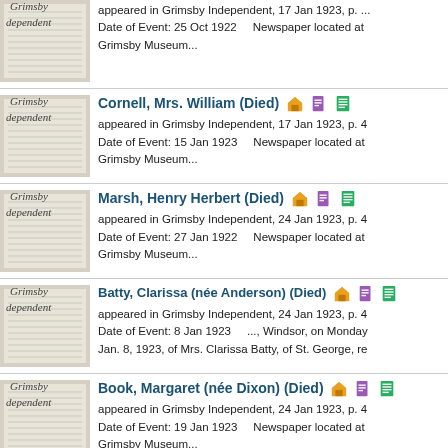[partial top entry] appeared in Grimsby Independent, 17 Jan 1923, p. ... Date of Event: 25 Oct 1922   Newspaper located at Grimsby Museum...
Cornell, Mrs. William (Died) appeared in Grimsby Independent, 17 Jan 1923, p. 4 Date of Event: 15 Jan 1923   Newspaper located at Grimsby Museum...
Marsh, Henry Herbert (Died) appeared in Grimsby Independent, 24 Jan 1923, p. 4 Date of Event: 27 Jan 1922   Newspaper located at Grimsby Museum...
Batty, Clarissa (née Anderson) (Died) appeared in Grimsby Independent, 24 Jan 1923, p. 4 Date of Event: 8 Jan 1923   ..., Windsor, on Monday Jan. 8, 1923, of Mrs. Clarissa Batty, of St. George, re
Book, Margaret (née Dixon) (Died) appeared in Grimsby Independent, 24 Jan 1923, p. 4 Date of Event: 19 Jan 1923   Newspaper located at Grimsby Museum...